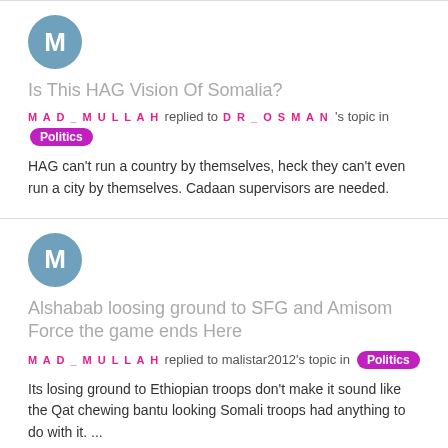[Figure (other): Avatar circle with letter M, steel blue background]
Is This HAG Vision Of Somalia?
MAD_MULLAH replied to DR_OSMAN 's topic in Politics
HAG can't run a country by themselves, heck they can't even run a city by themselves. Cadaan supervisors are needed.
[Figure (other): Avatar circle with letter M, steel blue background]
Alshabab loosing ground to SFG and Amisom Force the game ends Here
MAD_MULLAH replied to malistar2012's topic in Politics
Its losing ground to Ethiopian troops don't make it sound like the Qat chewing bantu looking Somali troops had anything to do with it. ...